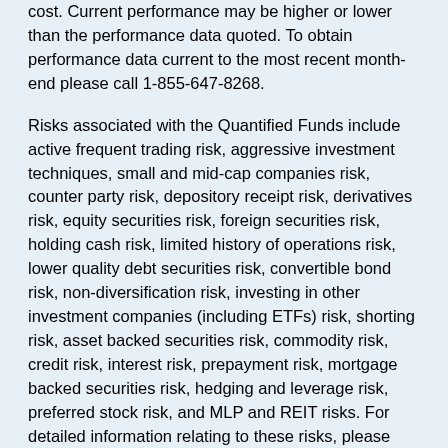cost. Current performance may be higher or lower than the performance data quoted. To obtain performance data current to the most recent month-end please call 1-855-647-8268.
Risks associated with the Quantified Funds include active frequent trading risk, aggressive investment techniques, small and mid-cap companies risk, counter party risk, depository receipt risk, derivatives risk, equity securities risk, foreign securities risk, holding cash risk, limited history of operations risk, lower quality debt securities risk, convertible bond risk, non-diversification risk, investing in other investment companies (including ETFs) risk, shorting risk, asset backed securities risk, commodity risk, credit risk, interest risk, prepayment risk, mortgage backed securities risk, hedging and leverage risk, preferred stock risk, and MLP and REIT risks. For detailed information relating to these risks, please see prospectus.
The principal risks of investing in The Gold Bullion Strategy Fund are Risks of the Sub-advisor's Investment Strategy